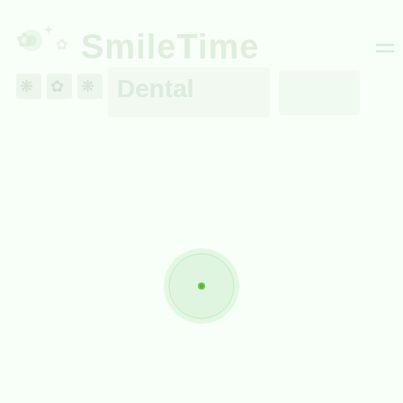[Figure (screenshot): SmileTime website screenshot showing a very faint/watermarked header with SmileTime logo and navigation, with a loading spinner (green circle with dot) in the center of the page. The page background is very light green-white. The header contains faded icons and text including 'SmileTime' brand name and navigation elements. A loading indicator consisting of a pale green circle with a small bright green dot appears in the lower-center of the page.]